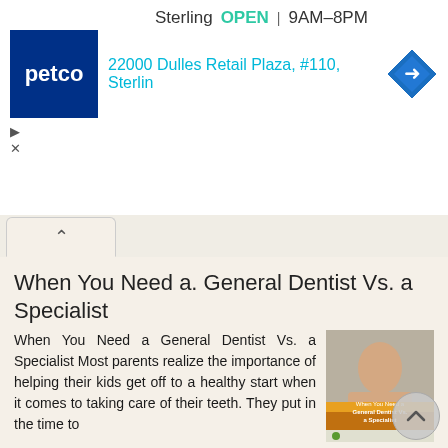[Figure (screenshot): Petco store ad banner showing Sterling location OPEN 9AM-8PM at 22000 Dulles Retail Plaza #110, with Petco logo and navigation diamond icon]
When You Need a. General Dentist Vs. a Specialist
When You Need a General Dentist Vs. a Specialist Most parents realize the importance of helping their kids get off to a healthy start when it comes to taking care of their teeth. They put in the time to
[Figure (photo): Thumbnail image of a smiling woman with text overlay reading 'When You Need a General Dentist Vs. a Specialist']
More information ➔
Your guide to Invisalign
Your guide to Invisalign How misaligned teeth affect your health. Plus: The three biggest myths debunked! 03, 04, 05 About
[Figure (photo): Thumbnail image related to Invisalign guide]